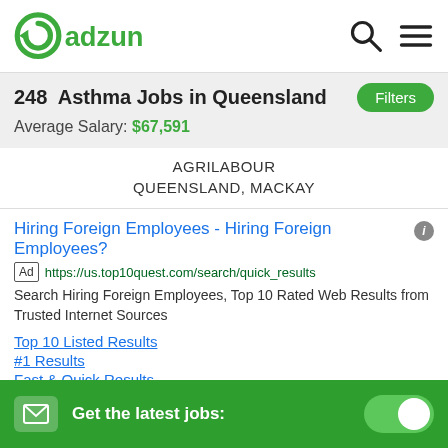adzuna
248  Asthma Jobs in Queensland
Average Salary: $67,591
AGRILABOUR
QUEENSLAND, MACKAY
Hiring Foreign Employees - Hiring Foreign Employees?
Ad https://us.top10quest.com/search/quick_results
Search Hiring Foreign Employees, Top 10 Rated Web Results from Trusted Internet Sources
Top 10 Listed Results
#1 Results
Fast & Quick Results
100% Trusted
Get the latest jobs: